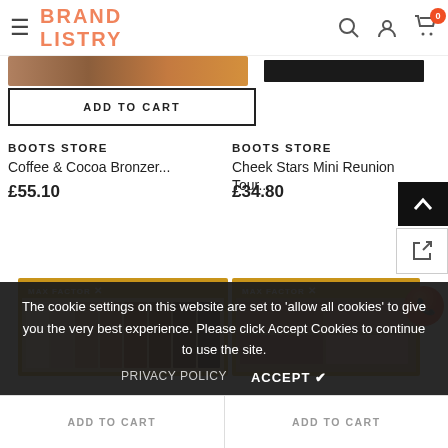BRAND LISTRY
[Figure (photo): Max Factor eyeshadow palette product image (partial, top of page)]
[Figure (photo): Mascara/eyeliner product image (partial, top right of page)]
ADD TO CART
BOOTS STORE
Coffee & Cocoa Bronzer...
£55.10
BOOTS STORE
Cheek Stars Mini Reunion Tour...
£34.80
[Figure (photo): Max Factor eyeshadow palette (nude tones) product image]
[Figure (photo): Max Factor cheek palette product image]
ADD TO CART
ADD TO CART
The cookie settings on this website are set to 'allow all cookies' to give you the very best experience. Please click Accept Cookies to continue to use the site.
PRIVACY POLICY
ACCEPT ✔